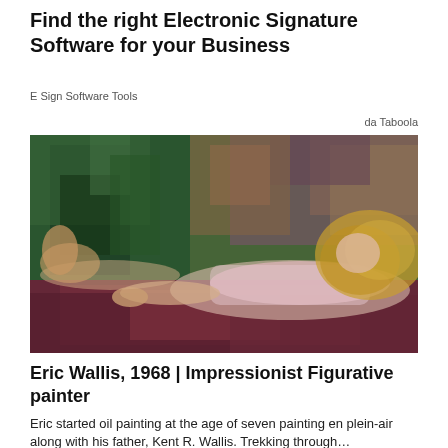Find the right Electronic Signature Software for your Business
E Sign Software Tools
da Taboola
[Figure (illustration): Oil painting of a blonde woman in a pink top lying on a dark red/maroon surface, with an impressionist colorful background of greens, blues and earth tones.]
Eric Wallis, 1968 | Impressionist Figurative painter
Eric started oil painting at the age of seven painting en plein-air along with his father, Kent R. Wallis. Trekking through…